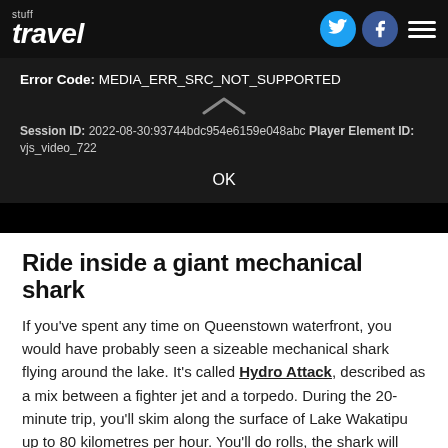stuff travel
[Figure (screenshot): Video player error dialog on dark background showing Error Code: MEDIA_ERR_SRC_NOT_SUPPORTED, Session ID: 2022-08-30:93744bdc954e6159e048abc, Player Element ID: vjs_video_722, with OK button]
Ride inside a giant mechanical shark
If you've spent any time on Queenstown waterfront, you would have probably seen a sizeable mechanical shark flying around the lake. It's called Hydro Attack, described as a mix between a fighter jet and a torpedo. During the 20-minute trip, you'll skim along the surface of Lake Wakatipu up to 80 kilometres per hour. You'll do rolls, the shark will dive up to two